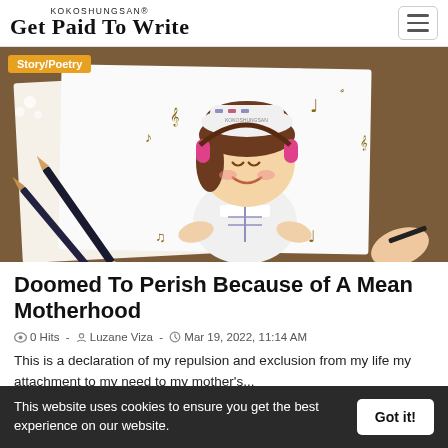KOKOSHUNGSAN® Get Paid To Write
[Figure (illustration): Cartoon girl with pink headphones listening to music, surrounded by musical notes, drawn on paper with pencils nearby. Badge reads Story/Poetry.]
Doomed To Perish Because of A Mean Motherhood
0 Hits - Luzane Viza - Mar 19, 2022, 11:14 AM
This is a declaration of my repulsion and exclusion from my life my attachment to my need to my mother's...
This website uses cookies to ensure you get the best experience on our website.